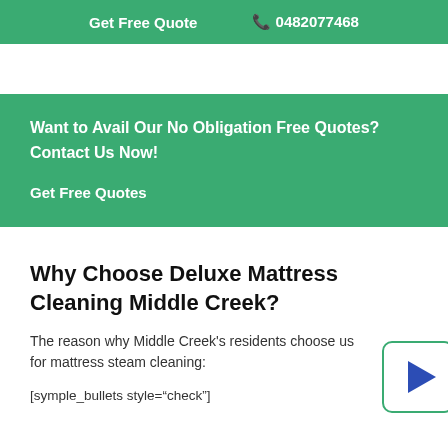Get Free Quote  📞 0482077468
Want to Avail Our No Obligation Free Quotes? Contact Us Now!
Get Free Quotes
Why Choose Deluxe Mattress Cleaning Middle Creek?
The reason why Middle Creek's residents choose us for mattress steam cleaning:
[symple_bullets style="check"]